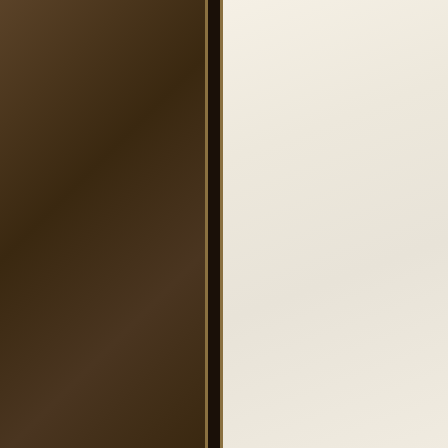Enchiric...
Enchiric...
Enchiric...
Enchiric...
Enchiric...
Enchiric...
Ex Kera...
Fiend K...
Foundin...
#2 (199...
Gem of...
Gem of...
Gem of...
Ghazal...
Gluttony...
Greyha...
Greyha...
Greyha...
Hardby:...
House o...
Into the...
Invader...
Kingdom...
Living G...
Masks o...
Oeridan...
Oeridan...
Paladin...
Paladin...